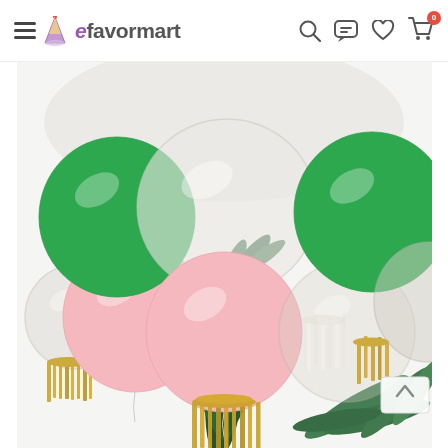eFavorMart — navigation header with hamburger menu, logo, search, chat, wishlist, and cart (0) icons
[Figure (photo): Balloon garland decoration with green, pink, white/clear balloons, gold metallic tassels, and green tropical fern leaves against a white background]